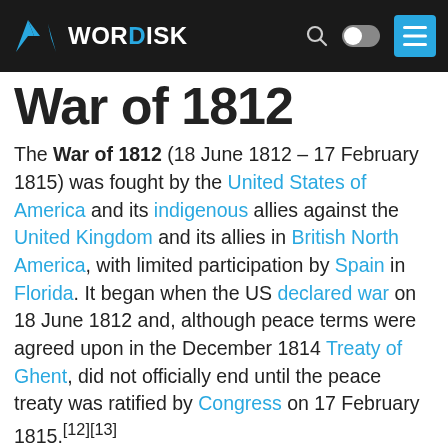WORDISK
War of 1812
The War of 1812 (18 June 1812 – 17 February 1815) was fought by the United States of America and its indigenous allies against the United Kingdom and its allies in British North America, with limited participation by Spain in Florida. It began when the US declared war on 18 June 1812 and, although peace terms were agreed upon in the December 1814 Treaty of Ghent, did not officially end until the peace treaty was ratified by Congress on 17 February 1815.[12][13]
This article is about the conflict in North America from 1812 to 1815. For the Franco–Russian conflict, see French invasion of Russia. For other uses of this term, see War of 1812 (disambiguation).